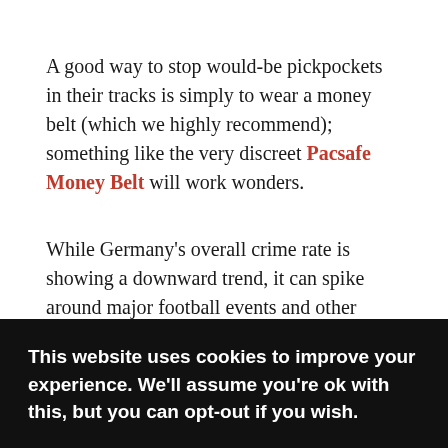A good way to stop would-be pickpockets in their tracks is simply to wear a money belt (which we highly recommend); something like the very discreet Pacsafe Money Belt will work wonders.
While Germany's overall crime rate is showing a downward trend, it can spike around major football events and other international festivals.
Still, if you're a savvy traveler you should get by without incident! Just remember on your beer drinking adventuring,
This website uses cookies to improve your experience. We'll assume you're ok with this, but you can opt-out if you wish.